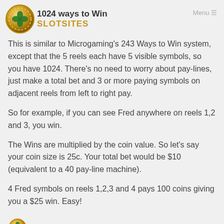1024 ways to Win SLOTSITES
This is similar to Microgaming's 243 Ways to Win system, except that the 5 reels each have 5 visible symbols, so you have 1024. There's no need to worry about pay-lines, just make a total bet and 3 or more paying symbols on adjacent reels from left to right pay.
So for example, if you can see Fred anywhere on reels 1,2 and 3, you win.
The Wins are multiplied by the coin value. So let's say your coin size is 25c. Your total bet would be $10 (equivalent to a 40 pay-line machine).
4 Fred symbols on reels 1,2,3 and 4 pays 100 coins giving you a $25 win. Easy!